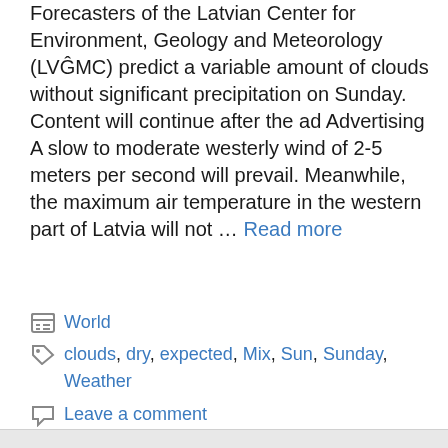Forecasters of the Latvian Center for Environment, Geology and Meteorology (LVGMC) predict a variable amount of clouds without significant precipitation on Sunday. Content will continue after the ad Advertising A slow to moderate westerly wind of 2-5 meters per second will prevail. Meanwhile, the maximum air temperature in the western part of Latvia will not … Read more
World
clouds, dry, expected, Mix, Sun, Sunday, Weather
Leave a comment